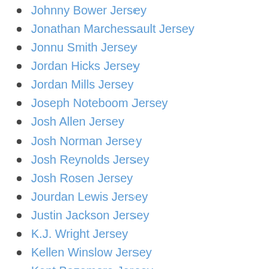Johnny Bower Jersey
Jonathan Marchessault Jersey
Jonnu Smith Jersey
Jordan Hicks Jersey
Jordan Mills Jersey
Joseph Noteboom Jersey
Josh Allen Jersey
Josh Norman Jersey
Josh Reynolds Jersey
Josh Rosen Jersey
Jourdan Lewis Jersey
Justin Jackson Jersey
K.J. Wright Jersey
Kellen Winslow Jersey
Kent Bazemore Jersey
Khairi Fortt Jersey
Korbinian Holzer Jersey
Kurt Suzuki Jersey
Kyler Fackrell Jersey
Lamar Jackson Jersey